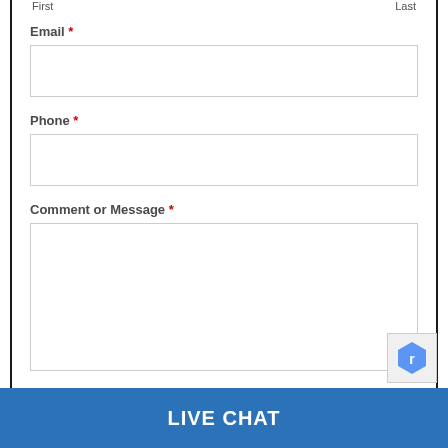First    Last
Email *
Phone *
Comment or Message *
LIVE CHAT